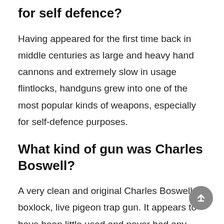for self defence?
Having appeared for the first time back in middle centuries as large and heavy hand cannons and extremely slow in usage flintlocks, handguns grew into one of the most popular kinds of weapons, especially for self-defence purposes.
What kind of gun was Charles Boswell?
A very clean and original Charles Boswell boxlock, live pigeon trap gun. It appears to have been little used and never had any significant work done. Comes complete. A rare